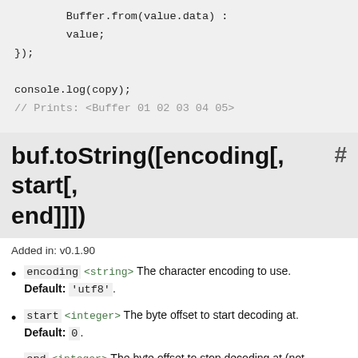Buffer.from(value.data) :
        value;
});

console.log(copy);
// Prints: <Buffer 01 02 03 04 05>
buf.toString([encoding[, start[, end]]])  #
Added in: v0.1.90
encoding <string> The character encoding to use. Default: 'utf8'.
start <integer> The byte offset to start decoding at. Default: 0.
end <integer> The byte offset to stop decoding at (not inclusive). Default: buf.length.